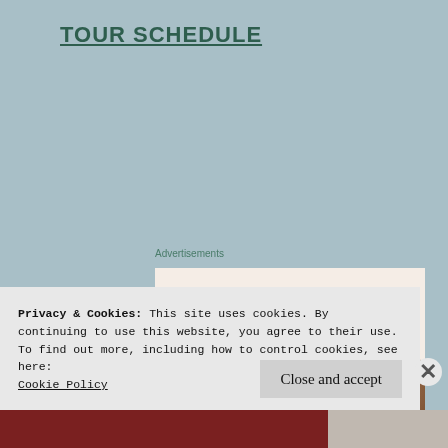TOUR SCHEDULE
Advertisements
[Figure (infographic): Advertisement banner with beige background. Headline: 'Need a website quickly – and on a budget?' Subtext: 'Let us build it for you'. Button: 'Let's get started'. Decorative circular photo of person on right side.]
Privacy & Cookies: This site uses cookies. By continuing to use this website, you agree to their use.
To find out more, including how to control cookies, see here:
Cookie Policy
Close and accept